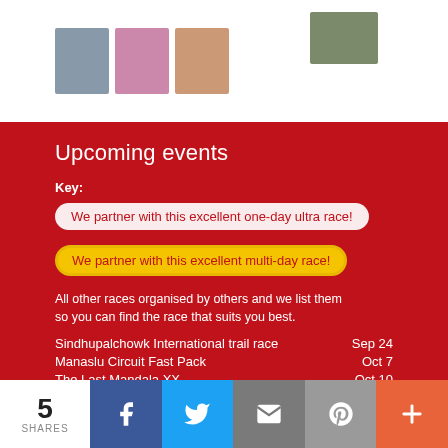[Figure (photo): Three thumbnail photos of people at trail running events, plus one landscape photo top right]
Upcoming events
Key:
We partner with this excellent one-day ultra race!
We partner with this excellent multi-day race!
All other races organised by others and we list them so you can find the race that suits you best.
Sindhupalchowk International trail race   Sep 24
Manaslu Circuit Fast Pack   Oct 7
The Last Mandala XX   Oct 10
Annapurna 100   Oct 29
Manaslu Trail Race   Nov 5
YETI MARATHON 42, 21, 10 km   Nov 9
Everest Trail Race   Nov 12
5 SHARES